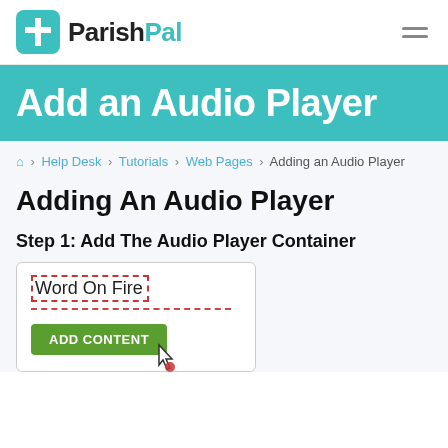ParishPal
Add an Audio Player
⌂ > Help Desk > Tutorials > Web Pages > Adding an Audio Player
Adding An Audio Player
Step 1: Add The Audio Player Container
[Figure (screenshot): Screenshot of a CMS content area showing 'Word On Fire' text with a dashed red border selection and a green 'ADD CONTENT' button with a mouse cursor hovering over it.]